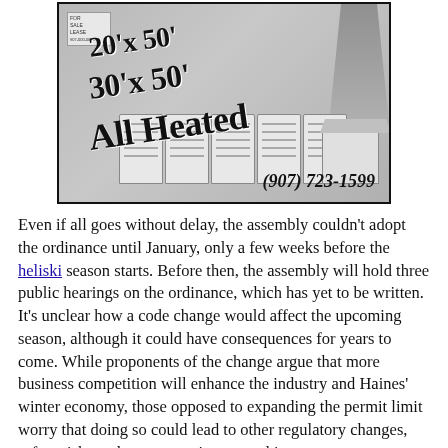[Figure (photo): Black and white advertisement photo of storage/garage units with text overlay: 20'x 50', 30'x 50', All Heated, (907) 723-1599. Shows a row of large garage doors with trees in background.]
Even if all goes without delay, the assembly couldn't adopt the ordinance until January, only a few weeks before the heliski season starts. Before then, the assembly will hold three public hearings on the ordinance, which has yet to be written. It's unclear how a code change would affect the upcoming season, although it could have consequences for years to come. While proponents of the change argue that more business competition will enhance the industry and Haines' winter economy, those opposed to expanding the permit limit worry that doing so could lead to other regulatory changes, safety risks and greater environmental impact.